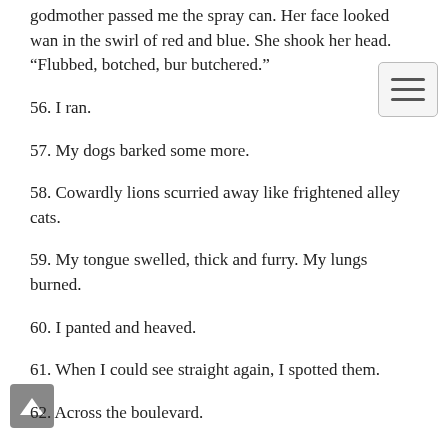godmother passed me the spray can. Her face looked wan in the swirl of red and blue. She shook her head. “Flubbed, botched, bur… butchered.”
56. I ran.
57. My dogs barked some more.
58. Cowardly lions scurried away like frightened alley cats.
59. My tongue swelled, thick and furry. My lungs burned.
60. I panted and heaved.
61. When I could see straight again, I spotted them.
62. Across the boulevard.
63. The ruby slippers.